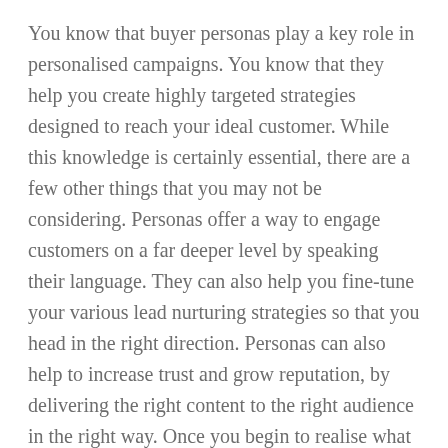You know that buyer personas play a key role in personalised campaigns. You know that they help you create highly targeted strategies designed to reach your ideal customer. While this knowledge is certainly essential, there are a few other things that you may not be considering. Personas offer a way to engage customers on a far deeper level by speaking their language. They can also help you fine-tune your various lead nurturing strategies so that you head in the right direction. Personas can also help to increase trust and grow reputation, by delivering the right content to the right audience in the right way. Once you begin to realise what a valuable tool that personas offer, you will be able to start crafting personas that generate results.